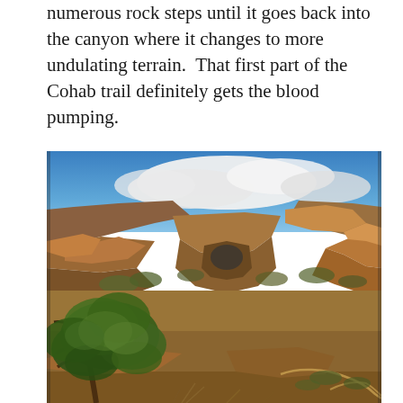numerous rock steps until it goes back into the canyon where it changes to more undulating terrain.  That first part of the Cohab trail definitely gets the blood pumping.
[Figure (photo): Panoramic photograph of a canyon landscape with red rock formations, desert scrub vegetation, a green juniper tree in the foreground left, and a winding trail visible in the lower right. Blue sky with white clouds in the upper portion.]